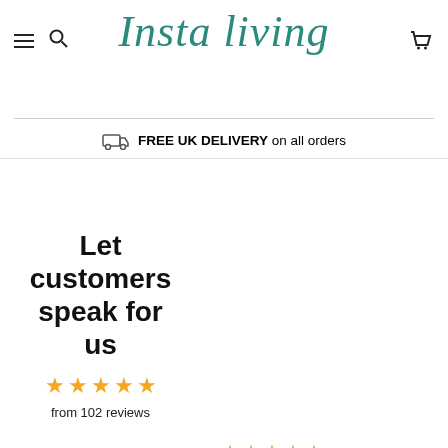Insta Living
FREE UK DELIVERY on all orders
Let customers speak for us
from 102 reviews
★★★★★
Attractive and sturdy
Great product. Looks even better in the flesh and is well made. Definitely recommend
James Grant
Baumhaus IRF20A Urban Ch...
27/04/2022